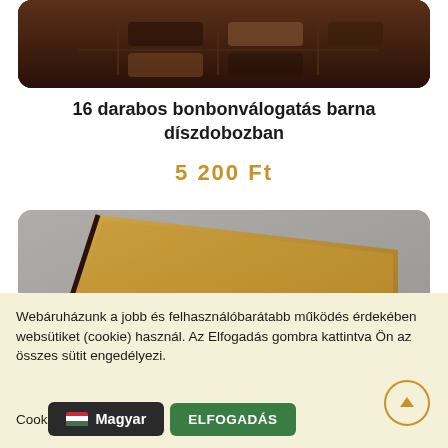[Figure (photo): Top portion of a dark brown chocolate gift box with chocolates visible inside, rounded rectangle crop]
16 darabos bonbonválogatás barna díszdobozban
5 200 Ft
[Figure (photo): Open brown decorative gift box with golden-brown lid propped open, photographed on grey background]
Webáruházunk a jobb és felhasználóbarátabb működés érdekében websütiket (cookie) használ. Az Elfogadás gombra kattintva Ön az összes sütit engedélyezi.
Cookie   Magyar   ELFOGADÁS